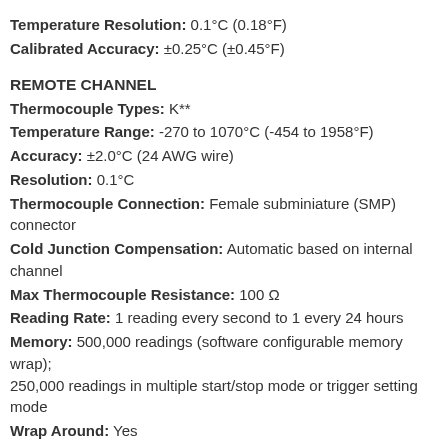Temperature Resolution: 0.1°C (0.18°F)
Calibrated Accuracy: ±0.25°C (±0.45°F)
REMOTE CHANNEL
Thermocouple Types: K**
Temperature Range: -270 to 1070°C (-454 to 1958°F)
Accuracy: ±2.0°C (24 AWG wire)
Resolution: 0.1°C
Thermocouple Connection: Female subminiature (SMP) connector
Cold Junction Compensation: Automatic based on internal channel
Max Thermocouple Resistance: 100 Ω
Reading Rate: 1 reading every second to 1 every 24 hours
Memory: 500,000 readings (software configurable memory wrap); 250,000 readings in multiple start/stop mode or trigger setting mode
Wrap Around: Yes